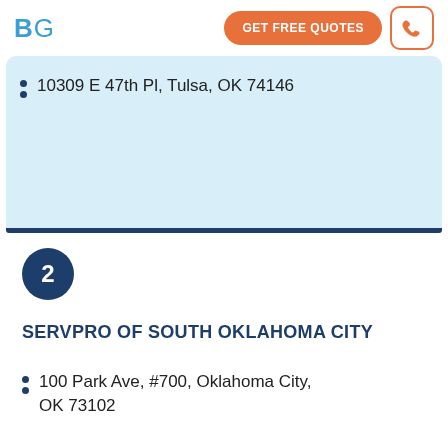BG | GET FREE QUOTES
10309 E 47th Pl, Tulsa, OK 74146
2
SERVPRO OF SOUTH OKLAHOMA CITY
100 Park Ave, #700, Oklahoma City, OK 73102